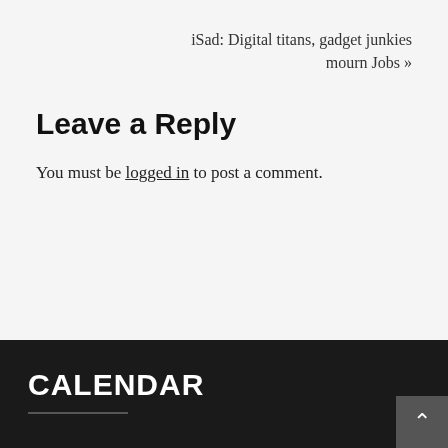iSad: Digital titans, gadget junkies mourn Jobs »
Leave a Reply
You must be logged in to post a comment.
CALENDAR